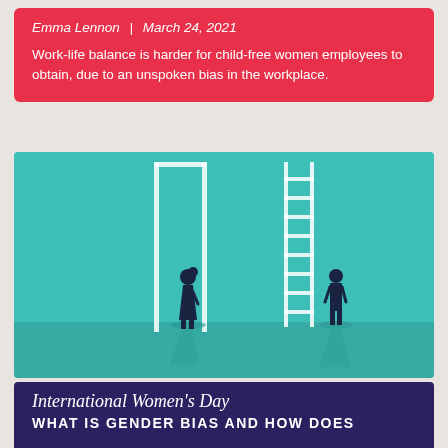Emma Lennon | March 24, 2021
Work-life balance is harder for child-free women employees to obtain, due to an unspoken bias in the workplace.
[Figure (illustration): Illustration on teal background showing two figures (a woman in a dress and a man in a suit) standing in front of ladders. The woman faces a tall closed door/blocked ladder, while the man stands beside a full ladder, representing workplace gender inequality.]
International Women's Day
WHAT IS GENDER BIAS AND HOW DOES